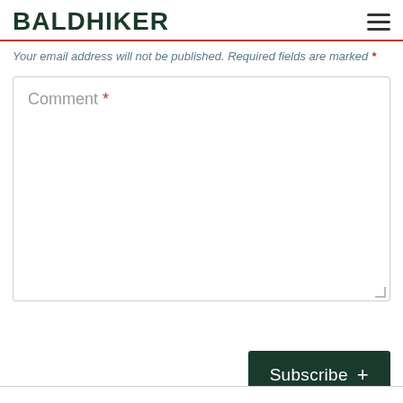BALDHIKER
Your email address will not be published. Required fields are marked *
Comment *
Subscribe +